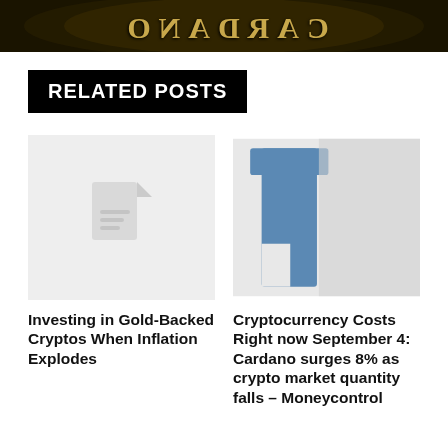[Figure (photo): Top banner showing a gold Cardano coin with reflected/mirrored text on black background]
RELATED POSTS
[Figure (illustration): Placeholder thumbnail with a document/file icon on light gray background]
[Figure (photo): Partial image showing a blue number 1 or letter on a gray/blue background]
Investing in Gold-Backed Cryptos When Inflation Explodes
Cryptocurrency Costs Right now September 4: Cardano surges 8% as crypto market quantity falls – Moneycontrol